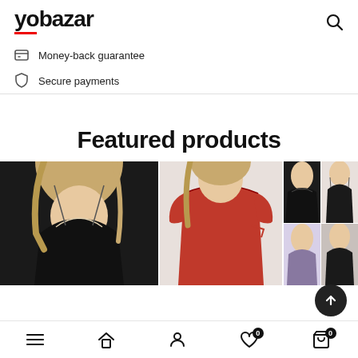[Figure (logo): yobazar logo with red underline and search icon]
Money-back guarantee
Secure payments
Featured products
[Figure (photo): Woman in black satin/lace slip dress]
[Figure (photo): Woman in red lace lingerie]
[Figure (photo): Grid of four product thumbnails: black lace babydoll, black lingerie set, purple lace slip, dark lingerie]
[Figure (other): Bottom navigation bar with hamburger menu, home, person, heart (badge 0), cart (badge 0) icons and scroll-to-top button]